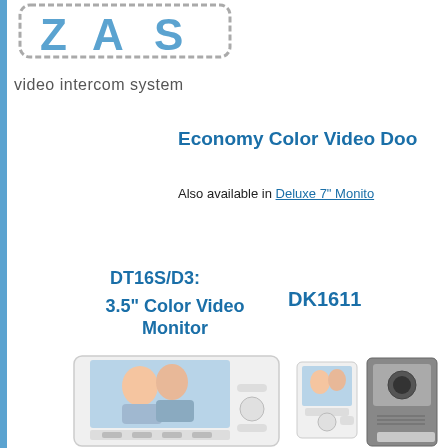[Figure (logo): ZAS video intercom system logo with stylized text and chain/border graphic]
video intercom system
Economy Color Video Doo
Also available in Deluxe 7" Monito
DT16S/D3:
3.5" Color Video Monitor
DK1611
[Figure (photo): 3.5 inch color video monitor showing couple on screen, white housing with buttons]
[Figure (photo): Small video monitor and door station DK1611 outdoor unit side by side]